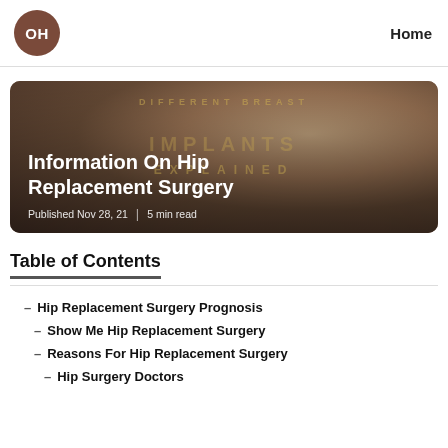OH | Home
[Figure (photo): Hero image card showing hands holding a clear implant, with overlaid text 'DIFFERENT BREAST IMPLANTS EXPLAINED' in gold letters. Main title 'Information On Hip Replacement Surgery' in white bold text. Published Nov 28, 21 | 5 min read.]
Table of Contents
Hip Replacement Surgery Prognosis
Show Me Hip Replacement Surgery
Reasons For Hip Replacement Surgery
Hip Surgery Doctors